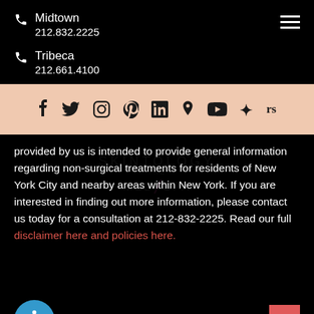Midtown
212.832.2225
Tribeca
212.661.4100
[Figure (infographic): Row of social media icons: Facebook, Twitter, Instagram, Pinterest, LinkedIn, Google Maps pin, YouTube, Yelp, RealSelf on a peach/beige background bar]
provided by us is intended to provide general information regarding non-surgical treatments for residents of New York City and nearby areas within New York. If you are interested in finding out more information, please contact us today for a consultation at 212-832-2225. Read our full disclaimer here and policies here.
[Figure (logo): Skintology The MedSpa watermark logo overlaid on content]
[Figure (illustration): Accessibility icon button (blue circle with white person symbol) and a red/pink scroll-to-top button]
QUICK LINKS